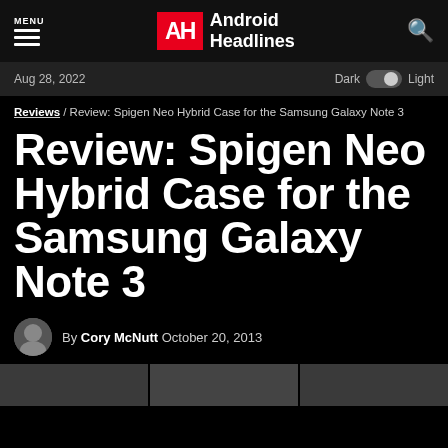MENU | Android Headlines
Aug 28, 2022  Dark  Light
Reviews / Review: Spigen Neo Hybrid Case for the Samsung Galaxy Note 3
Review: Spigen Neo Hybrid Case for the Samsung Galaxy Note 3
By Cory McNutt  October 20, 2013